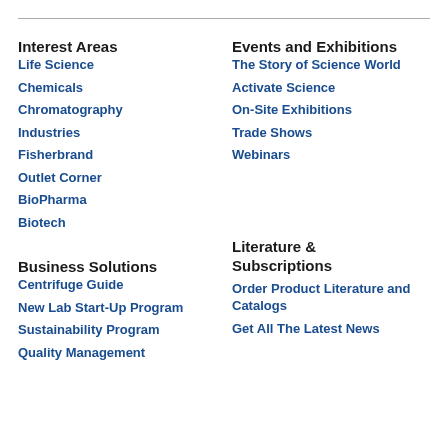Interest Areas
Life Science
Chemicals
Chromatography
Industries
Fisherbrand
Outlet Corner
BioPharma
Biotech
Events and Exhibitions
The Story of Science World
Activate Science
On-Site Exhibitions
Trade Shows
Webinars
Business Solutions
Centrifuge Guide
New Lab Start-Up Program
Sustainability Program
Quality Management
Literature & Subscriptions
Order Product Literature and Catalogs
Get All The Latest News